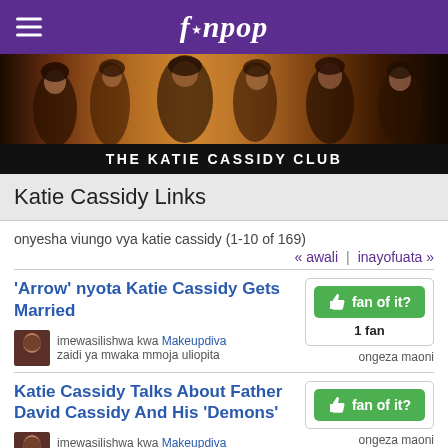fanpop
[Figure (photo): Banner with photos of Katie Cassidy in various poses]
THE KATIE CASSIDY CLUB
Katie Cassidy Links
onyesha viungo vya katie cassidy (1-10 of 169)
« awali | inayofuata »
'Arrow' nyota Katie Cassidy Gets Married
fan of it? 1 fan ongeza maoni imewasilishwa kwa Makeupdiva zaidi ya mwaka mmoja uliopita
Katie Cassidy Talks About Father David Cassidy And His 'Demons'
fan of it? ongeza maoni imewasilishwa kwa Makeupdiva zaidi ya mwaka mmoja uliopita
David Cassidy's Daughter Reveals His